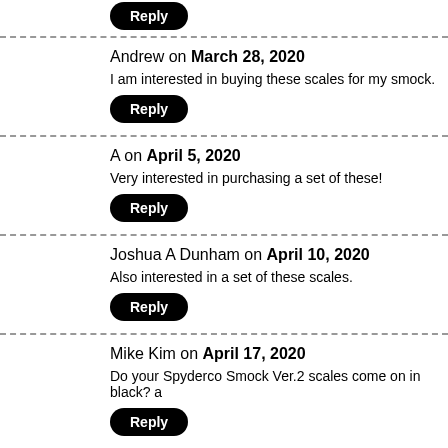Reply (button at top)
Andrew on March 28, 2020
I am interested in buying these scales for my smock.
Reply
A on April 5, 2020
Very interested in purchasing a set of these!
Reply
Joshua A Dunham on April 10, 2020
Also interested in a set of these scales.
Reply
Mike Kim on April 17, 2020
Do your Spyderco Smock Ver.2 scales come on in black? a
Reply